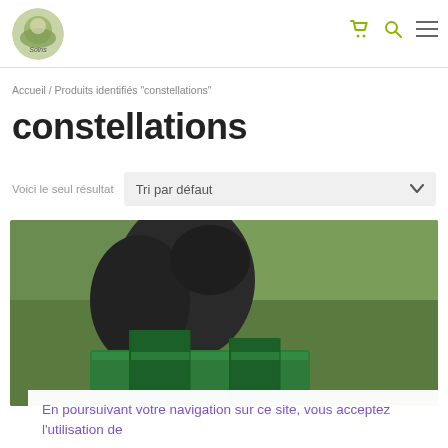Logo | cart icon | search icon | menu icon
Accueil / Produits identifiés "constellations"
constellations
Voici le seul résultat
[Figure (screenshot): Dropdown selector labeled 'Tri par défaut' with chevron arrow]
[Figure (photo): Photo of a person in dark clothing sitting on green sculpture/furniture outdoors on grass]
En poursuivant votre navigation sur ce site, vous acceptez l'utilisation de